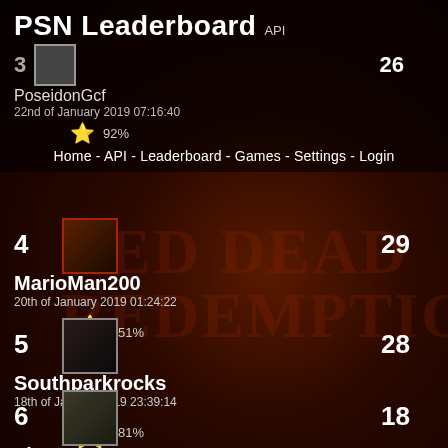PSN Leaderboard API
Home - API - Leaderboard - Games - Settings - Login
3  [avatar]  26
PoseidonGcf
22nd of January 2019 07:16:40
92%
4  [avatar]  29
MarioMan200
20th of January 2019 01:24:22
51%
5  [avatar]  28
Southparkrocks
18th of January 2019 23:39:14
81%
6  [avatar]  18
pht850916
17th of January 2019 14:20:43